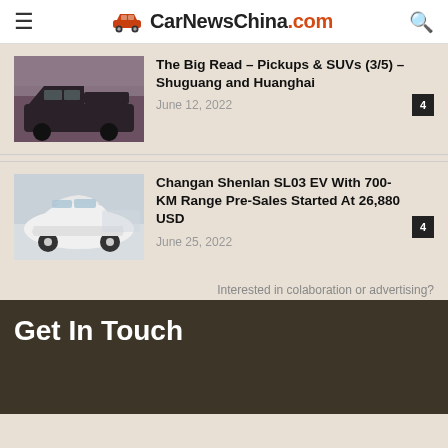CarNewsChina.com
The Big Read – Pickups & SUVs (3/5) – Shuguang and Huanghai
June 12, 2022
Changan Shenlan SL03 EV With 700-KM Range Pre-Sales Started At 26,880 USD
June 25, 2022
Interested in colaboration or advertising?
Get In Touch